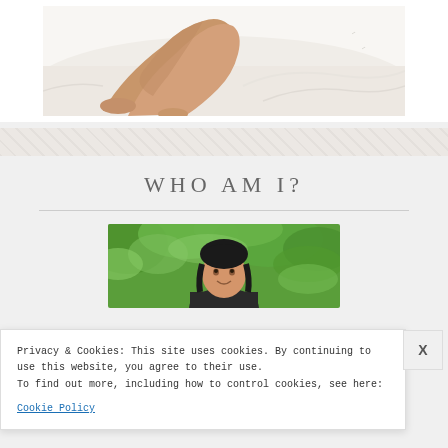[Figure (photo): Cropped photo of a person's bare legs resting on a white bed with white sheets, viewed from an angle]
WHO AM I?
[Figure (photo): Portrait photo of a woman with dark hair smiling, set against a green leafy outdoor background]
Privacy & Cookies: This site uses cookies. By continuing to use this website, you agree to their use.
To find out more, including how to control cookies, see here: Cookie Policy